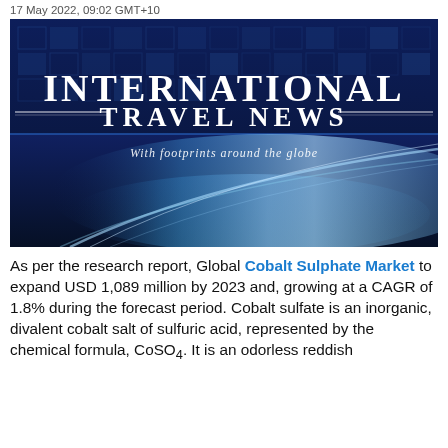17 May 2022, 09:02 GMT+10
[Figure (illustration): International Travel News banner image with dark blue background, geometric grid pattern, large white serif text 'INTERNATIONAL TRAVEL NEWS', decorative horizontal lines, italic subtitle 'With footprints around the globe', and a glowing blue light streak effect in the lower portion.]
As per the research report, Global Cobalt Sulphate Market to expand USD 1,089 million by 2023 and, growing at a CAGR of 1.8% during the forecast period. Cobalt sulfate is an inorganic, divalent cobalt salt of sulfuric acid, represented by the chemical formula, CoSO4. It is an odorless reddish